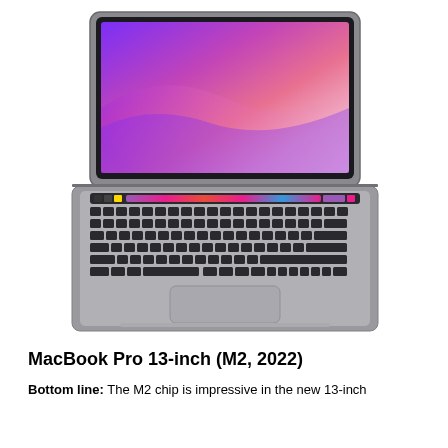[Figure (photo): MacBook Pro 13-inch (M2, 2022) laptop computer shown from above/top-down angle, open lid, space gray color, with colorful pink/purple wallpaper on screen, keyboard visible, Touch Bar visible above keyboard]
MacBook Pro 13-inch (M2, 2022)
Bottom line: The M2 chip is impressive in the new 13-inch